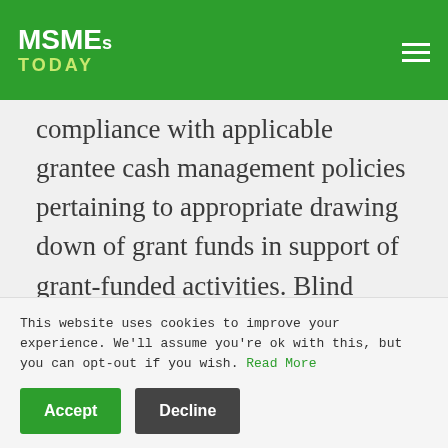MSMEs TODAY
compliance with applicable grantee cash management policies pertaining to appropriate drawing down of grant funds in support of grant-funded activities. Blind drawdowns and excess drawdowns, are prohibited.

The foundation must be right from the very beginning before implementation starts. This will enable the recipient to be in compliance with all
This website uses cookies to improve your experience. We'll assume you're ok with this, but you can opt-out if you wish. Read More
Accept
Decline